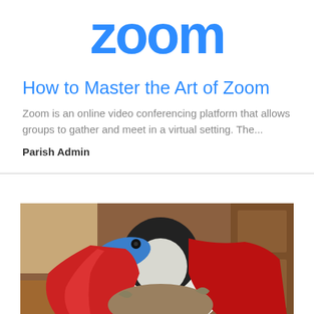[Figure (logo): Zoom logo in blue with large bold rounded lettering]
How to Master the Art of Zoom
Zoom is an online video conferencing platform that allows groups to gather and meet in a virtual setting.  The...
Parish Admin
[Figure (photo): A bird or bird-like stuffed animal/figure wearing a red cape and blue beak, photographed indoors near wooden furniture]